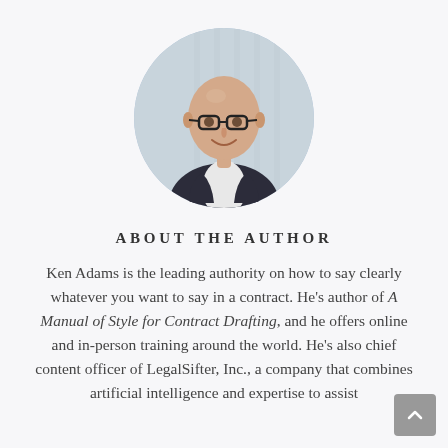[Figure (photo): Circular headshot photo of Ken Adams, a bald man wearing glasses and a dark blazer over a white shirt, smiling, with a light background.]
ABOUT THE AUTHOR
Ken Adams is the leading authority on how to say clearly whatever you want to say in a contract. He’s author of A Manual of Style for Contract Drafting, and he offers online and in-person training around the world. He’s also chief content officer of LegalSifter, Inc., a company that combines artificial intelligence and expertise to assist